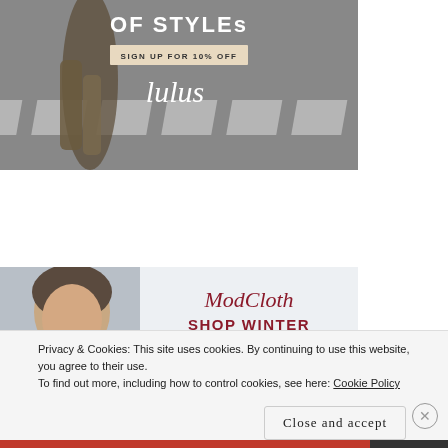[Figure (photo): Lulus fashion ad with person walking on crosswalk. Text reads 'OF STYLEs', 'SIGN UP FOR 10% OFF', and 'lulus' script logo.]
[Figure (photo): ModCloth ad with woman smiling. Text reads 'ModCloth' and 'SHOP WINTER'.]
Privacy & Cookies: This site uses cookies. By continuing to use this website, you agree to their use.
To find out more, including how to control cookies, see here: Cookie Policy
Close and accept